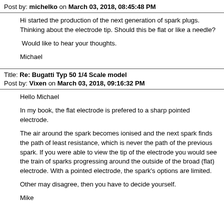Post by: michelko on March 03, 2018, 08:45:48 PM
Hi started the production of the next generation of spark plugs. Thinking about the electrode tip. Should this be flat or like a needle?
 Would like to hear your thoughts.

Michael
Title: Re: Bugatti Typ 50 1/4 Scale model
Post by: Vixen on March 03, 2018, 09:16:32 PM
Hello Michael

In my book, the flat electrode is prefered to a sharp pointed electrode.

The air around the spark becomes ionised and the next spark finds the path of least resistance, which is never the path of the previous spark. If you were able to view the tip of the electrode you would see the train of sparks progressing around the outside of the broad (flat) electrode. With a pointed electrode, the spark's options are limited.

Other may disagree, then you have to decide yourself.

Mike